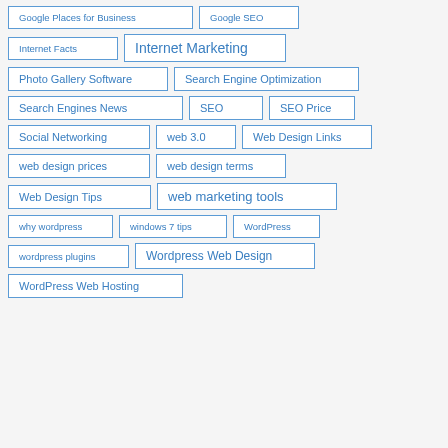Google Places for Business
Google SEO
Internet Facts
Internet Marketing
Photo Gallery Software
Search Engine Optimization
Search Engines News
SEO
SEO Price
Social Networking
web 3.0
Web Design Links
web design prices
web design terms
Web Design Tips
web marketing tools
why wordpress
windows 7 tips
WordPress
wordpress plugins
Wordpress Web Design
WordPress Web Hosting